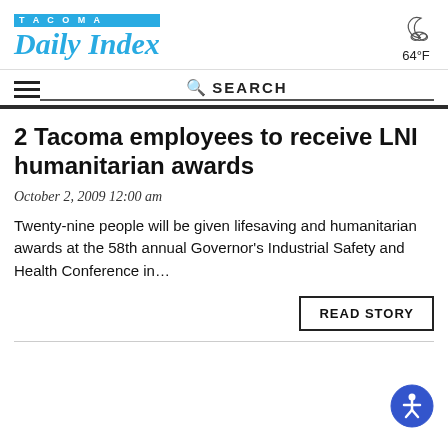TACOMA Daily Index
[Figure (illustration): Weather icon showing a crescent moon with a cloud, indicating partly cloudy night weather. Temperature shown as 64°F.]
2 Tacoma employees to receive LNI humanitarian awards
October 2, 2009 12:00 am
Twenty-nine people will be given lifesaving and humanitarian awards at the 58th annual Governor's Industrial Safety and Health Conference in...
READ STORY
[Figure (illustration): Accessibility icon: blue circle with white person symbol (wheelchair accessible / accessibility button).]